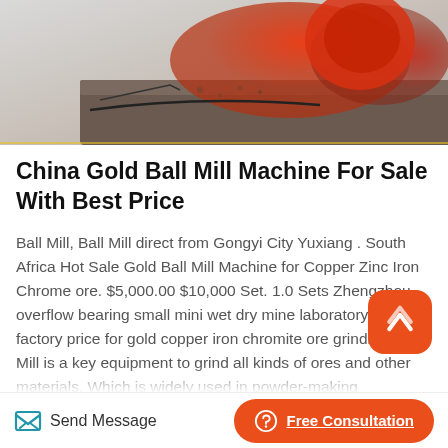[Figure (photo): Photograph showing industrial ball mill machine components with orange/red metallic parts]
China Gold Ball Mill Machine For Sale With Best Price
Ball Mill, Ball Mill direct from Gongyi City Yuxiang . South Africa Hot Sale Gold Ball Mill Machine for Copper Zinc Iron Chrome ore. $5,000.00 $10,000 Set. 1.0 Sets Zhengzhou overflow bearing small mini wet dry mine laboratory ball mill factory price for gold copper iron chromite ore grinding.Ball Mill is a key equipment to grind all kinds of ores and other materials. Which is widely used in powder-making production line including cement, silicate, new type
Send Message
Free Consultation